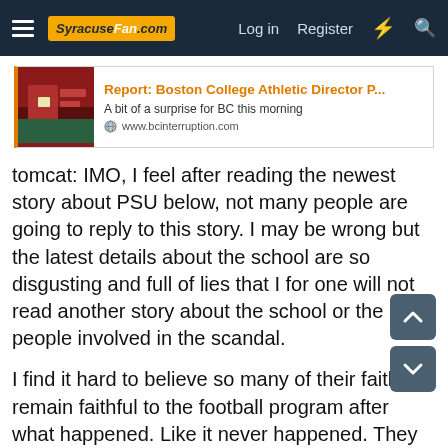SyracuseFan.com — Log in  Register
[Figure (screenshot): Link preview card for article: Report: Boston College Athletic Director P... — A bit of a surprise for BC this morning — www.bcinterruption.com]
tomcat: IMO, I feel after reading the newest story about PSU below, not many people are going to reply to this story. I may be wrong but the latest details about the school are so disgusting and full of lies that I for one will not read another story about the school or the people involved in the scandal.
I find it hard to believe so many of their faithfuls remain faithful to the football program after what happened. Like it never happened. They must look away and pretend everything is fine. Amazing.
I wanted to say this because its how I feel and I want to say that to the people at PSU or someone from the school who